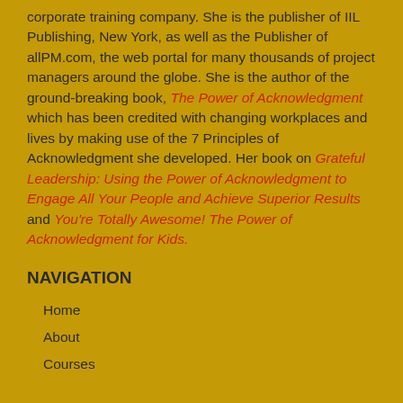corporate training company. She is the publisher of IIL Publishing, New York, as well as the Publisher of allPM.com, the web portal for many thousands of project managers around the globe. She is the author of the ground-breaking book, The Power of Acknowledgment which has been credited with changing workplaces and lives by making use of the 7 Principles of Acknowledgment she developed. Her book on Grateful Leadership: Using the Power of Acknowledgment to Engage All Your People and Achieve Superior Results and You're Totally Awesome! The Power of Acknowledgment for Kids.
NAVIGATION
Home
About
Courses